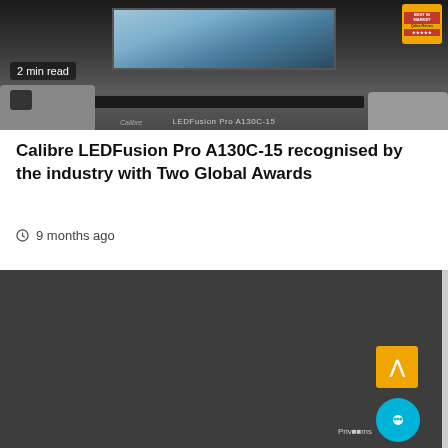[Figure (photo): Dark home theater room with a large TV displaying a mountain landscape, a sofa on the left with a dark pillow, a TV stand, and a gold award badge in the top right corner. Text overlay reads '2 min read' in bottom left. Model label 'LEDFusion Pro A130C-15' and 'Calibre' brand visible at bottom.]
Calibre LEDFusion Pro A130C-15 recognised by the industry with Two Global Awards
9 months ago
[Figure (photo): Dark gray background, partially loaded or blank lower image section of the article page, with a yellow scroll-to-top button, a teal chat bubble button, and a 'Privacy' text label.]